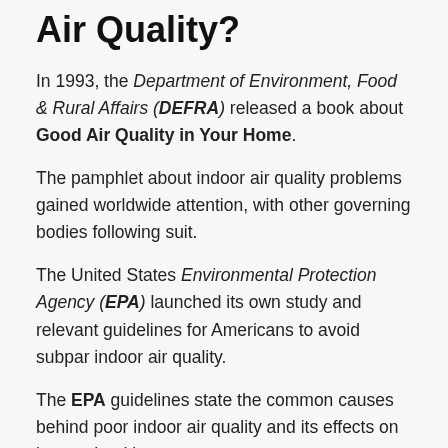Air Quality?
In 1993, the Department of Environment, Food & Rural Affairs (DEFRA) released a book about Good Air Quality in Your Home.
The pamphlet about indoor air quality problems gained worldwide attention, with other governing bodies following suit.
The United States Environmental Protection Agency (EPA) launched its own study and relevant guidelines for Americans to avoid subpar indoor air quality.
The EPA guidelines state the common causes behind poor indoor air quality and its effects on human health.